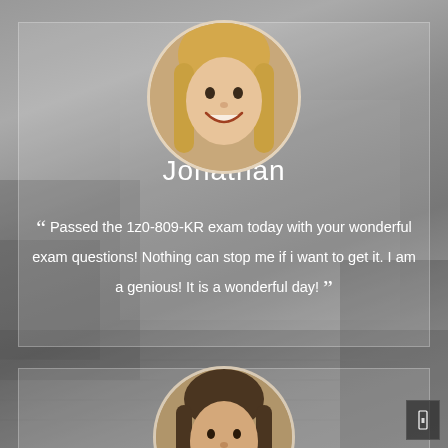[Figure (photo): Testimonial card for Jonathan with circular portrait photo of a smiling blonde woman, name 'Jonathan', and a testimonial quote about passing the 1z0-809-KR exam. Set against a blurred laptop background.]
Jonathan
“ Passed the 1z0-809-KR exam today with your wonderful exam questions! Nothing can stop me if i want to get it. I am a genious! It is a wonderful day! ”
[Figure (photo): Partially visible second testimonial card with a circular portrait of a man with dark hair, bottom portion cut off.]